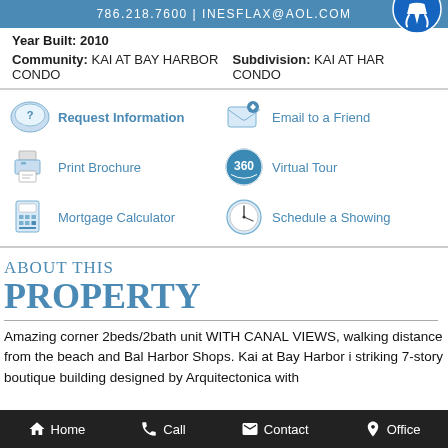786.218.7600 | INESFLAX@AOL.COM
Year Built: 2010
Community: KAI AT BAY HARBOR CONDO    Subdivision: KAI AT HARBOR CONDO
Request Information
Email to a Friend
Print Brochure
Virtual Tour
Mortgage Calculator
Schedule a Showing
ABOUT THIS PROPERTY
Amazing corner 2beds/2bath unit WITH CANAL VIEWS, walking distance from the beach and Bal Harbor Shops. Kai at Bay Harbor is a striking 7-story boutique building designed by Arquitectonica with
Home  Call  Contact  Office